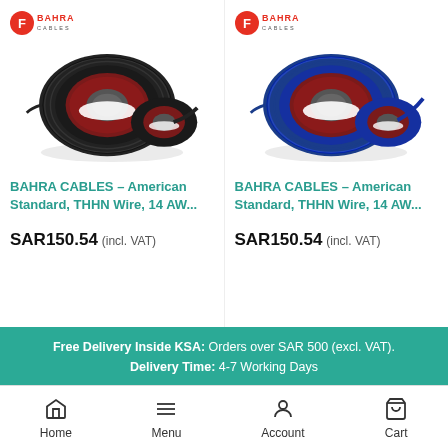[Figure (logo): Bahra Cables logo - red circular icon with F and white BAHRA CABLES text]
[Figure (photo): Black THHN wire cable spool/reel product photo]
BAHRA CABLES – American Standard, THHN Wire, 14 AW...
SAR150.54 (incl. VAT)
[Figure (logo): Bahra Cables logo - red circular icon with F and white BAHRA CABLES text]
[Figure (photo): Blue THHN wire cable spool/reel product photo]
BAHRA CABLES – American Standard, THHN Wire, 14 AW...
SAR150.54 (incl. VAT)
Free Delivery Inside KSA: Orders over SAR 500 (excl. VAT). Delivery Time: 4-7 Working Days
Home  Menu  Account  Cart